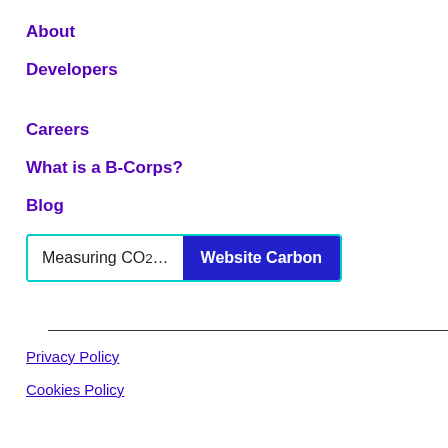About
Developers
Careers
What is a B-Corps?
Blog
[Figure (screenshot): Website Carbon widget with input text 'Measuring CO2...' and a dark blue button labeled 'Website Carbon']
Privacy Policy
Cookies Policy